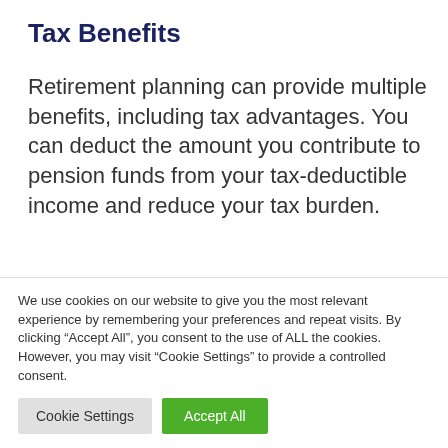Tax Benefits
Retirement planning can provide multiple benefits, including tax advantages. You can deduct the amount you contribute to pension funds from your tax-deductible income and reduce your tax burden.
Certain retirement plan benefits are tax-free or only partially tax-deductible. The
We use cookies on our website to give you the most relevant experience by remembering your preferences and repeat visits. By clicking “Accept All”, you consent to the use of ALL the cookies. However, you may visit “Cookie Settings” to provide a controlled consent.